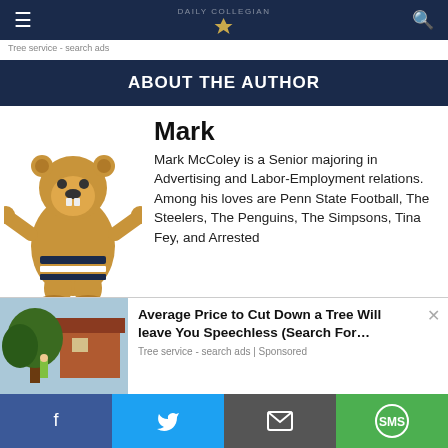Daily Collegian navigation bar with hamburger menu, eagle logo, and search icon
Tree service - search ads
ABOUT THE AUTHOR
[Figure (illustration): Penn State Nittany Lion mascot cartoon illustration with arms outstretched, wearing a blue and white striped scarf]
Mark
Mark McColey is a Senior majoring in Advertising and Labor-Employment relations. Among his loves are Penn State Football, The Steelers, The Penguins, The Simpsons, Tina Fey, and Arrested
[Figure (photo): Tree service advertisement showing a man trimming a tree near a brick house]
Average Price to Cut Down a Tree Will leave You Speechless (Search For…
Tree service - search ads | Sponsored
Facebook, Twitter, Email, SMS share buttons